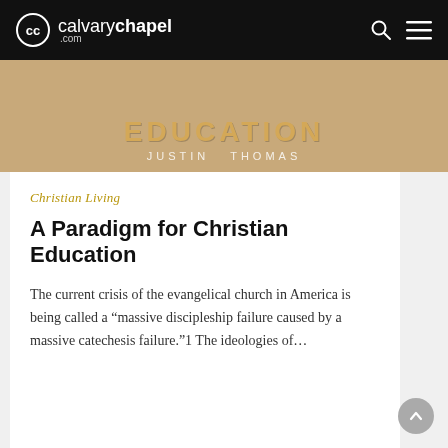calvarychapel.com
[Figure (photo): Book cover showing text 'EDUCATION' by Justin Thomas on a tan/kraft paper background]
Christian Living
A Paradigm for Christian Education
The current crisis of the evangelical church in America is being called a “massive discipleship failure caused by a massive catechesis failure.”1 The ideologies of…